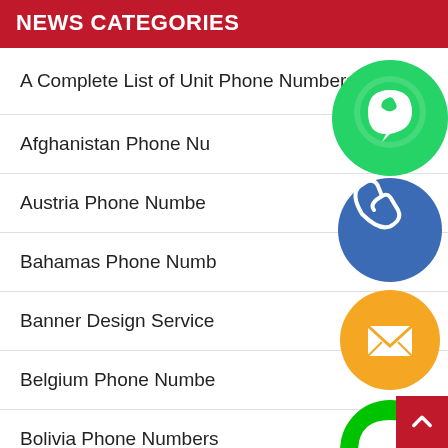NEWS CATEGORIES
A Complete List of Unit Phone Numbers
Afghanistan Phone Numbers
Austria Phone Numbers
Bahamas Phone Numbers
Banner Design Service
Belgium Phone Numbers
Bolivia Phone Numbers